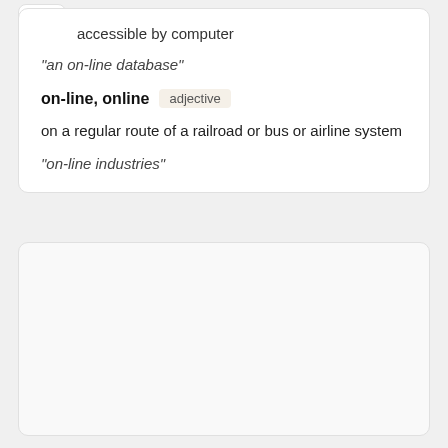accessible by computer
"an on-line database"
on-line, online  adjective
on a regular route of a railroad or bus or airline system
"on-line industries"